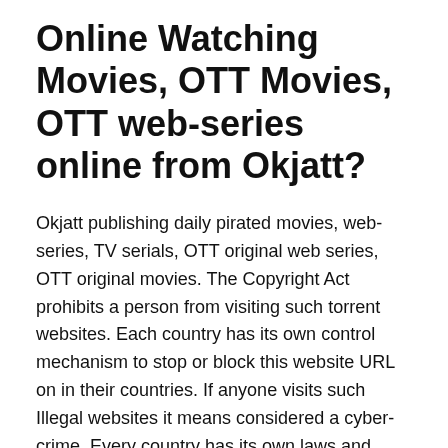Online Watching Movies, OTT Movies, OTT web-series online from Okjatt?
Okjatt publishing daily pirated movies, web-series, TV serials, OTT original web series, OTT original movies. The Copyright Act prohibits a person from visiting such torrent websites. Each country has its own control mechanism to stop or block this website URL on in their countries. If anyone visits such Illegal websites it means considered a cyber-crime. Every country has its own laws and penalties for people who work on pirated/torrent sites. In most countries charged fines or Jail for users viewing the copyright content from pirated/torrent websites. But some countries have laws only arrest a person for doing an activity on this illegal / prohibited content online. Therefore, beware about cyber law